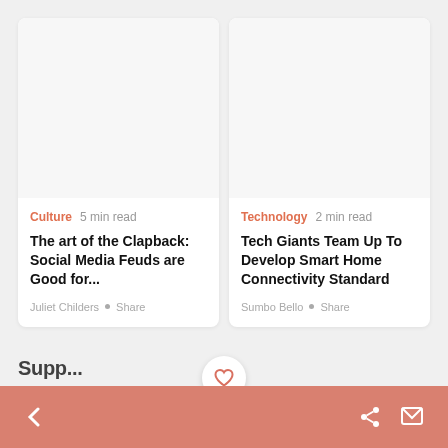[Figure (other): Blank white image placeholder for Culture article card]
Culture  5 min read
The art of the Clapback: Social Media Feuds are Good for...
Juliet Childers • Share
[Figure (other): Blank white image placeholder for Technology article card]
Technology  2 min read
Tech Giants Team Up To Develop Smart Home Connectivity Standard
Sumbo Bello • Share
< (back button)   (heart icon)   (share icon) (message icon)